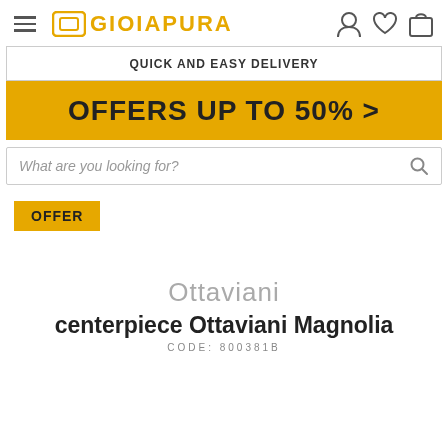[Figure (logo): GioiaPura logo with hamburger menu icon on left, and user/heart/bag icons on right]
QUICK AND EASY DELIVERY
OFFERS UP TO 50% >
What are you looking for?
OFFER
Ottaviani
centerpiece Ottaviani Magnolia
CODE: 800381B